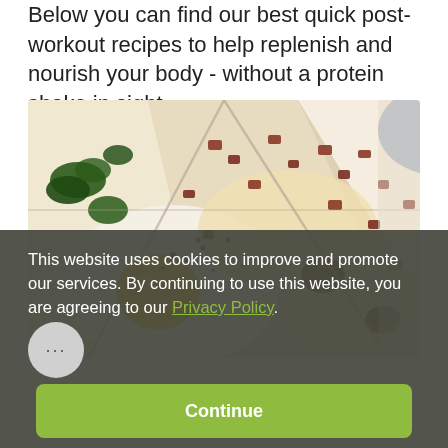Below you can find our best quick post-workout recipes to help replenish and nourish your body - without a protein shake in sight.
[Figure (photo): Close-up overhead photo of flatbread pizza slices topped with fried eggs (runny yolk visible), bacon/pancetta pieces, mushrooms, spinach, melted cheese, and black pepper, served on parchment paper.]
This website uses cookies to improve and promote our services. By continuing to use this website, you are agreeing to our Privacy Policy.
Continue